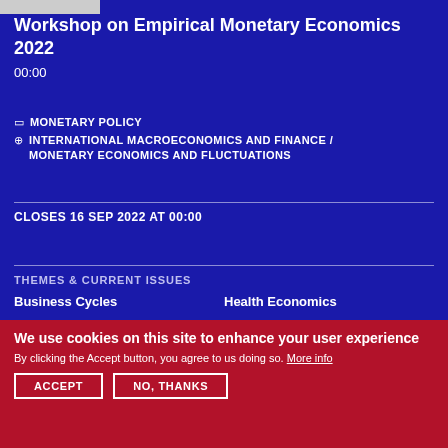Workshop on Empirical Monetary Economics 2022
00:00
MONETARY POLICY
INTERNATIONAL MACROECONOMICS AND FINANCE / MONETARY ECONOMICS AND FLUCTUATIONS
CLOSES 16 SEP 2022 AT 00:00
THEMES & CURRENT ISSUES
Business Cycles
Health Economics
Central Banking
Inflation
We use cookies on this site to enhance your user experience
By clicking the Accept button, you agree to us doing so. More info
ACCEPT
NO, THANKS